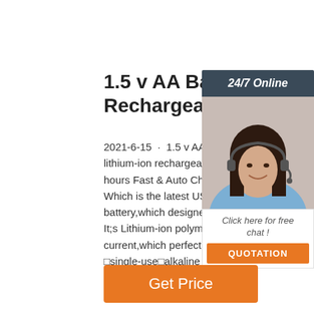1.5 v AA Battery Lithium ion Rechargeable Lithium ...
2021-6-15 · 1.5 v AA Battery Smart USB 1. lithium-ion rechargeable types of aa batteries hours Fast & Auto Charging mode. 1.5 v AA Which is the latest USB Charging model battery,which designed and developed by P. It;s Lithium-ion polymer battery with 1.5V di current,which perfectly replace 1.5v disposa  single-use alkaline non-rechargeable batte 1...
[Figure (photo): Woman with headset smiling, customer service representative, with '24/7 Online' header, 'Click here for free chat!' text and orange QUOTATION button]
Get Price